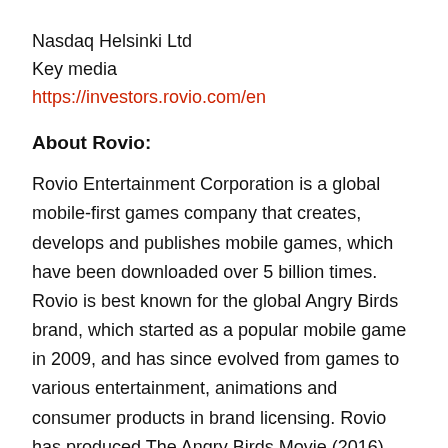Nasdaq Helsinki Ltd
Key media
https://investors.rovio.com/en
About Rovio:
Rovio Entertainment Corporation is a global mobile-first games company that creates, develops and publishes mobile games, which have been downloaded over 5 billion times. Rovio is best known for the global Angry Birds brand, which started as a popular mobile game in 2009, and has since evolved from games to various entertainment, animations and consumer products in brand licensing. Rovio has produced The Angry Birds Movie (2016), and it's sequel, The Angry Birds Movie 2 was released in 2019. The company offers multiple mobile games and has seven games studios – two in Espoo (Finland), one in Stockholm (Sweden), Copenhagen (Denmark), Montreal and Toronto (Canada), as well as a subsidiary in Izmir (Turkey) called